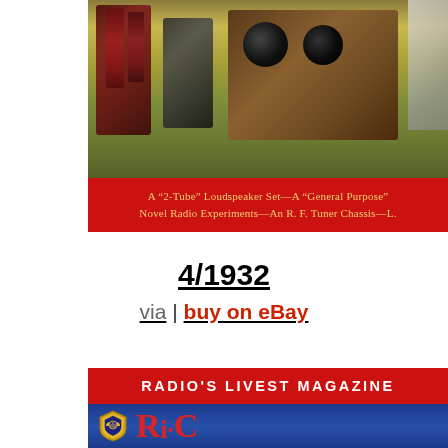[Figure (photo): Top portion of a vintage radio magazine cover from 1932, showing radio equipment including vacuum tubes and knobs on a yellow/green background, with a red banner below containing yellow text: A "2-Tube" Loudspeaker Set—A "General Purpose" Novel Radio Experiments—An R.F. Tuner Chassis—L.]
A "2-Tube" Loudspeaker Set—A "General Purpose" Novel Radio Experiments—An R. F. Tuner Chassis—L.
4/1932
via | buy on eBay
[Figure (photo): Bottom portion of a vintage radio magazine cover showing red background with white text 'RADIO'S LIVEST MAGAZINE' banner, blue rounded rectangle area with a shield/crest badge logo, and large red letters beginning 'R' and 'i' visible at bottom.]